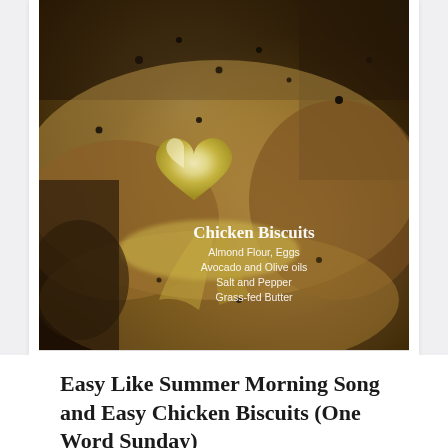[Figure (photo): Close-up food photo of chicken biscuits with a heart-shaped pat of butter melting on top, with black pepper seasoning. Text overlay reads: 'Chicken Biscuits / Almond Flour, Eggs / Avocado and Olive oils / Salt and Pepper / Grass-fed Butter']
Easy Like Summer Morning Song and Easy Chicken Biscuits (One Word Sunday)
September 20, 2020